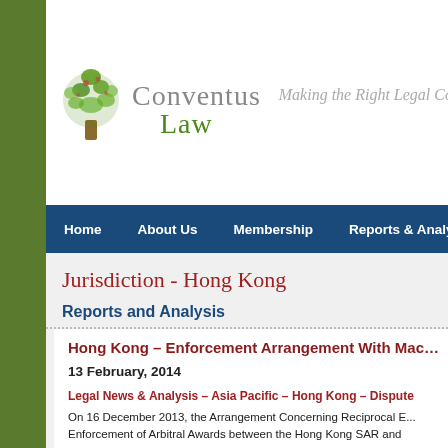[Figure (logo): Conventus Law logo with tree icon and tagline 'Making the Right Legal Con...']
Home | About Us | Membership | Reports & Analysis | Vide...
Jurisdiction - Hong Kong
Reports and Analysis
Hong Kong – Enforcement Arrangement With Mac...
13 February, 2014
Legal News & Analysis – Asia Pacific – Hong Kong – Dispute...
On 16 December 2013, the Arrangement Concerning Reciprocal E... Enforcement of Arbitral Awards between the Hong Kong SAR and... Arrangement) came into force. The Arrangement, which was sign... implemented by ss. 98A-99D of the Hong Kong Arbitration Ordinan... added to the legislation by the Arbitration (Amendment) Ordinance...
We use cookies to ensure that we give you the best experience on our website. If you continue to use this site we will assume that you are happy with it.